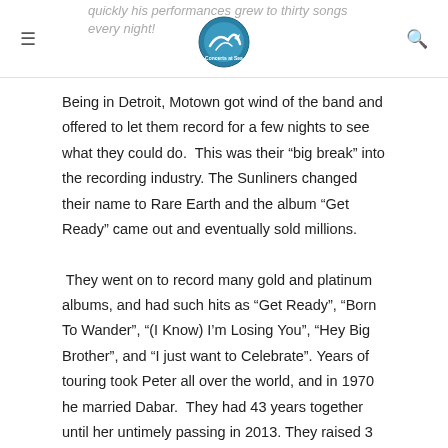quickly his performances grew to thirty songs every night!
Being in Detroit, Motown got wind of the band and offered to let them record for a few nights to see what they could do.  This was their “big break” into the recording industry. The Sunliners changed their name to Rare Earth and the album “Get Ready” came out and eventually sold millions.
 They went on to record many gold and platinum albums, and had such hits as “Get Ready”, “Born To Wander”, “(I Know) I’m Losing You”, “Hey Big Brother”, and “I just want to Celebrate”. Years of touring took Peter all over the world, and in 1970 he married Dabar.  They had 43 years together until her untimely passing in 2013. They raised 3 children who all went on to professional sports careers. Today Peter tours and writes material for